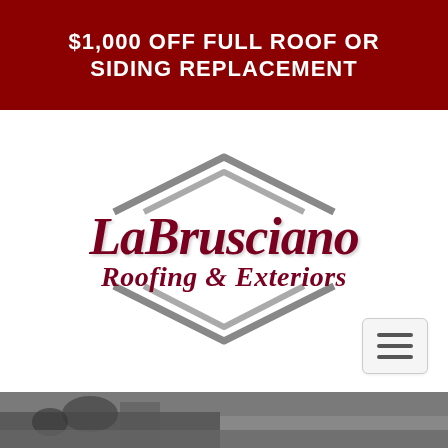$1,000 OFF FULL ROOF OR SIDING REPLACEMENT
[Figure (logo): LaBrusciano Roofing & Exteriors logo with chevron diamond shape above and below the text, on white background]
[Figure (photo): Photo strip showing workers on a roofing surface]
Call Us